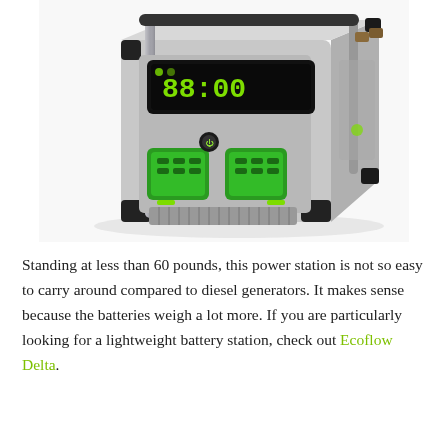[Figure (photo): A portable battery power station (EGO brand) with a gray and black rugged body, green outlet ports on the front panel, a digital display showing 88:00, metal carrying handles on top corners, and rubber corner protectors. The unit sits on a flat surface photographed at a slight angle.]
Standing at less than 60 pounds, this power station is not so easy to carry around compared to diesel generators. It makes sense because the batteries weigh a lot more. If you are particularly looking for a lightweight battery station, check out Ecoflow Delta.